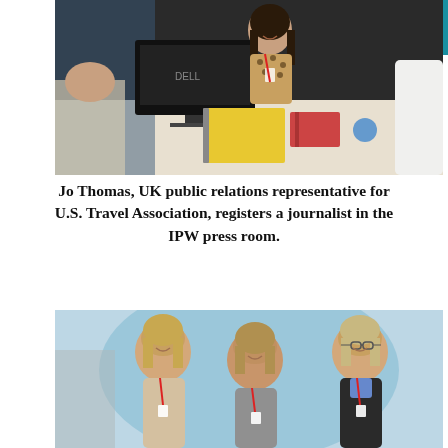[Figure (photo): A woman in a leopard print top smiling behind a desk with a Dell monitor, conference registration area with books and supplies visible, multiple people around her.]
Jo Thomas, UK public relations representative for U.S. Travel Association, registers a journalist in the IPW press room.
[Figure (photo): Three women standing together smiling in front of a light blue background, all with blond/light hair, wearing lanyards with badges.]